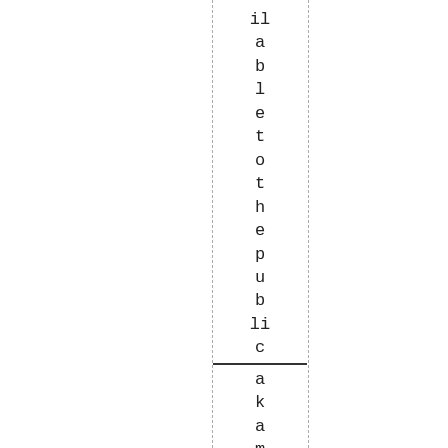ilabletothepublic_akame_when I amfi